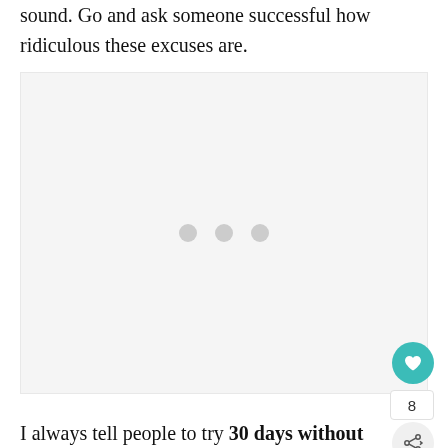sound. Go and ask someone successful how ridiculous these excuses are.
[Figure (other): Advertisement placeholder box with three gray dots in the center]
[Figure (other): Like button (teal heart icon), like count showing 8, and share button]
I always tell people to try 30 days without